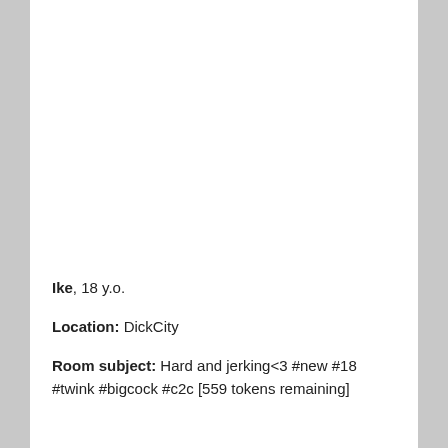Ike, 18 y.o.
Location: DickCity
Room subject: Hard and jerking<3 #new #18 #twink #bigcock #c2c [559 tokens remaining]